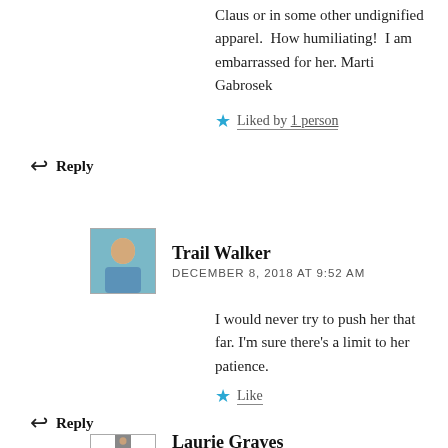Claus or in some other undignified apparel.  How humiliating!  I am embarrassed for her. Marti Gabrosek
Liked by 1 person
Reply
Trail Walker
DECEMBER 8, 2018 AT 9:52 AM
I would never try to push her that far. I'm sure there's a limit to her patience.
Like
Reply
Laurie Graves